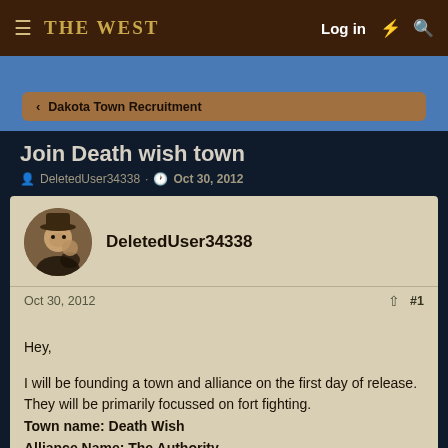≡ The West  Log in ⚡ 🔍
< Dakota Town Recruitment
Join Death wish town
DeletedUser34338 · Oct 30, 2012
DeletedUser34338
Oct 30, 2012  #1
Hey,

I will be founding a town and alliance on the first day of release. They will be primarily focussed on fort fighting.
Town name: Death Wish
Alliance Name: The Authority
😎